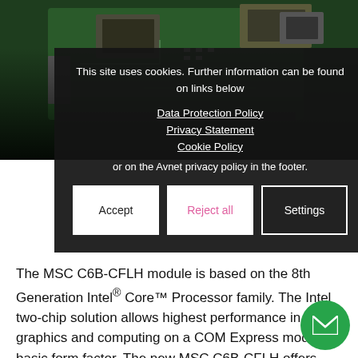[Figure (photo): PCB circuit board photo background showing green circuit board with chips and components]
This site uses cookies. Further information can be found on links below
Data Protection Policy
Privacy Statement
Cookie Policy
or on the Avnet privacy policy in the footer.
Accept
Reject all
Settings
The MSC C6B-CFLH module is based on the 8th Generation Intel® Core™ Processor family. The Intel two-chip solution allows highest performance in graphics and computing on a COM Express module in basic form factor. The new MSC C6B-CFLH offers triple independent display support with up to 4k x 2k resolution, highest level graphics acceleration, hardware based video en-/decoding. Fast DDR4 memory with optional error correction (ECC) and multiple USB 3. interfaces complete the compact and powerful module. With